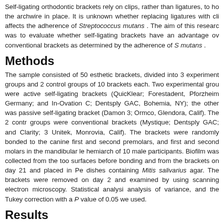Self-ligating orthodontic brackets rely on clips, rather than ligatures, to hold the archwire in place. It is unknown whether replacing ligatures with clips affects the adherence of Streptococcus mutans . The aim of this research was to evaluate whether self-ligating brackets have an advantage over conventional brackets as determined by the adherence of S mutans .
Methods
The sample consisted of 50 esthetic brackets, divided into 3 experimental groups and 2 control groups of 10 brackets each. Two experimental groups were active self-ligating brackets (QuicKlear; Forestadent, Pforzheim, Germany; and In-Ovation C; Dentsply GAC, Bohemia, NY); the other was a passive self-ligating bracket (Damon 3; Ormco, Glendora, Calif). The 2 control groups were conventional brackets (Mystique; Dentsply GAC; and Clarity; 3M Unitek, Monrovia, Calif). The brackets were randomly bonded to the canine, first and second premolars, and first and second molars in the mandibular left hemiarch of 10 male participants. Biofilm was collected from the tooth surfaces before bonding and from the brackets on day 21 and placed in Petri dishes containing Mitis salivarius agar. The brackets were removed on day 21 and examined by using scanning electron microscopy. Statistical analysis, analysis of variance, and the Tukey correction with a P value of 0.05 were used.
Results